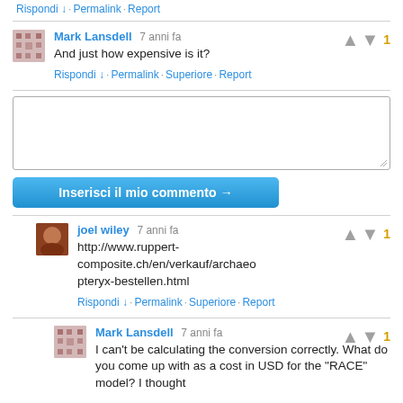Rispondi ↓ · Permalink · Report
Mark Lansdell 7 anni fa — And just how expensive is it?
Rispondi ↓ · Permalink · Superiore · Report
[Figure (screenshot): Empty comment text area input box]
Inserisci il mio commento →
joel wiley 7 anni fa — http://www.ruppert-composite.ch/en/verkauf/archaeopteryx-bestellen.html
Rispondi ↓ · Permalink · Superiore · Report
Mark Lansdell 7 anni fa — I can't be calculating the conversion correctly. What do you come up with as a cost in USD for the "RACE" model? I thought